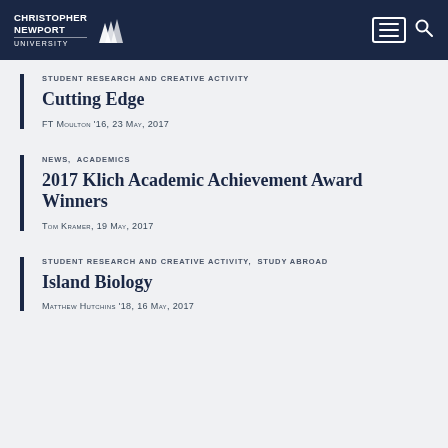Christopher Newport University
STUDENT RESEARCH AND CREATIVE ACTIVITY
Cutting Edge
FT Moulton '16, 23 May, 2017
NEWS, ACADEMICS
2017 Klich Academic Achievement Award Winners
Tom Kramer, 19 May, 2017
STUDENT RESEARCH AND CREATIVE ACTIVITY, STUDY ABROAD
Island Biology
Matthew Hutchins '18, 16 May, 2017